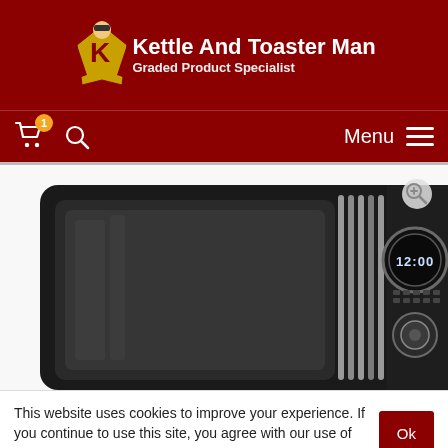Kettle And Toaster Man – Graded Product Specialist
[Figure (screenshot): Website header with dark red background showing 'Kettle And Toaster Man / Graded Product Specialist' logo and navigation bar with cart icon (badge: 1), search icon, and Menu button]
[Figure (photo): Close-up photo of a black retro-style microwave oven with silver trim, digital display showing 12:00, and control knobs]
This website uses cookies to improve your experience. If you continue to use this site, you agree with our use of cookies. Privacy Policy